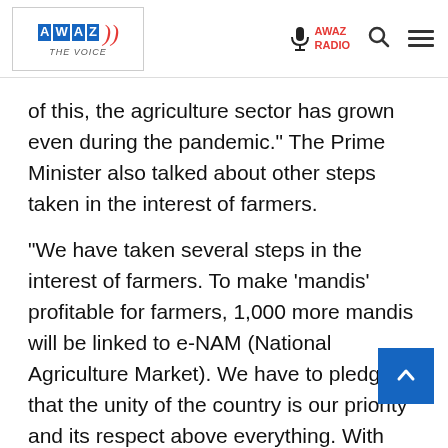AWAZ THE VOICE | AWAZ RADIO
of this, the agriculture sector has grown even during the pandemic." The Prime Minister also talked about other steps taken in the interest of farmers.
"We have taken several steps in the interest of farmers. To make 'mandis' profitable for farmers, 1,000 more mandis will be linked to e-NAM (National Agriculture Market). We have to pledge that the unity of the country is our priority and its respect above everything. With this feeling, we have to move forward along with each and every person of India," he added.
Over the Union Budget 2021-22, he said, "This year's Union Budget will help increase the speed of